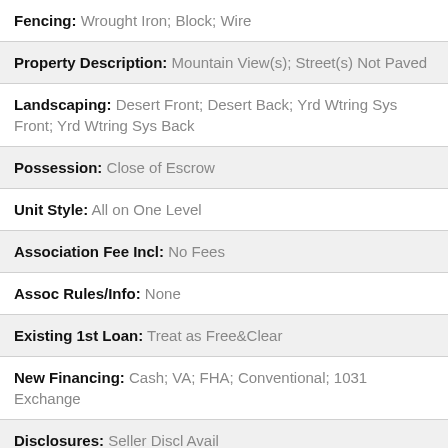Fencing: Wrought Iron; Block; Wire
Property Description: Mountain View(s); Street(s) Not Paved
Landscaping: Desert Front; Desert Back; Yrd Wtring Sys Front; Yrd Wtring Sys Back
Possession: Close of Escrow
Unit Style: All on One Level
Association Fee Incl: No Fees
Assoc Rules/Info: None
Existing 1st Loan: Treat as Free&Clear
New Financing: Cash; VA; FHA; Conventional; 1031 Exchange
Disclosures: Seller Discl Avail
Supplements